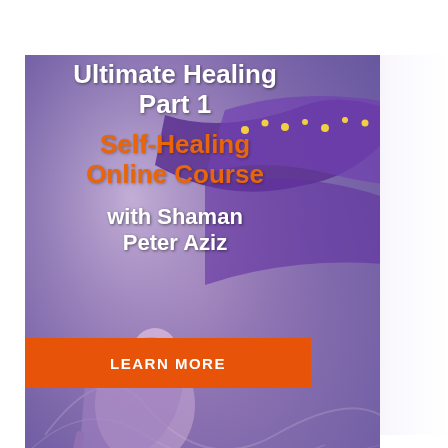[Figure (illustration): Advertisement banner for 'Ultimate Healing Part 1 - Self-Healing Online Course with Shaman Peter Aziz'. Features a purple/violet mystical background with a flowing purple scarf/ribbon element decorated with golden dots, and an illustrated figure. The left panel contains white and orange bold text. A bright orange 'LEARN MORE' button is at the bottom. The image extends to the right with a blurred/faded purple-to-white gradient showing the ribbon continuing.]